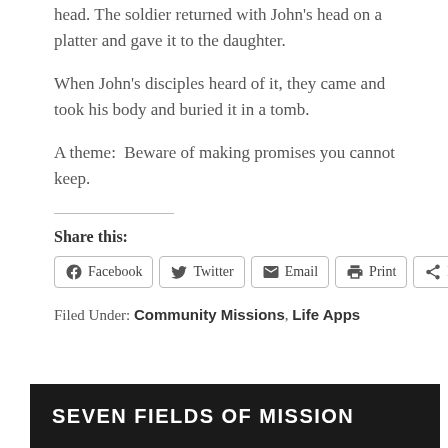head. The soldier returned with John's head on a platter and gave it to the daughter.
When John's disciples heard of it, they came and took his body and buried it in a tomb.
A theme:  Beware of making promises you cannot keep.
Share this:
[Figure (other): Social sharing buttons: Facebook, Twitter, Email, Print, More]
Filed Under: Community Missions, Life Apps
SEVEN FIELDS OF MISSION